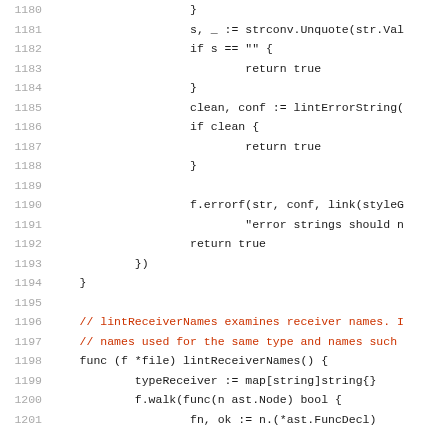[Figure (screenshot): Source code listing in Go language, lines 1180–1201, showing code for lintReceiverNames function with line numbers on the left in gray, code in dark/monospace font, and comments in red/orange.]